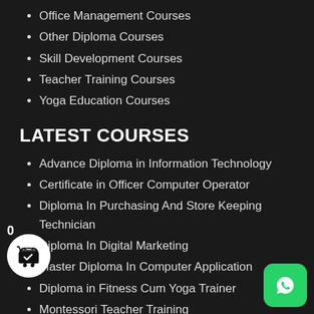Office Management Courses
Other Diploma Courses
Skill Development Courses
Teacher Training Courses
Yoga Education Courses
LATEST COURSES
Advance Diploma in Information Technology
Certificate in Officer Computer Operator
Diploma In Purchasing And Store Keeping Technician
Diploma In Digital Marketing
Master Diploma In Computer Application
Diploma in Fitness Cum Yoga Trainer
Montessori Teacher Training
Diploma in Yoga Education
Diploma In Security Officer